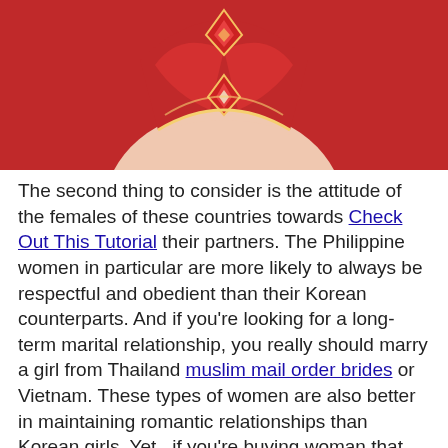[Figure (illustration): Anime-style illustration of a character wearing red armor/outfit with diamond-shaped ornaments on a red background]
The second thing to consider is the attitude of the females of these countries towards Check Out This Tutorial their partners. The Philippine women in particular are more likely to always be respectful and obedient than their Korean counterparts. And if you're looking for a long-term marital relationship, you really should marry a girl from Thailand muslim mail order brides or Vietnam. These types of women are also better in maintaining romantic relationships than Korean girls. Yet , if you're buying woman that can respect your household, a Filipina would be a better choice.
Liczba wyświetleń wpisu: 76
Share on Facebook Share
Share on TwitterTweet
Share on Pinterest Share
Share on LinkedIn Share